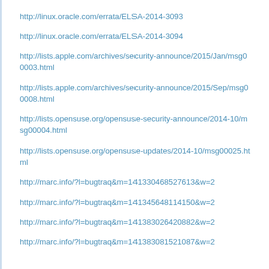http://linux.oracle.com/errata/ELSA-2014-3093
http://linux.oracle.com/errata/ELSA-2014-3094
http://lists.apple.com/archives/security-announce/2015/Jan/msg00003.html
http://lists.apple.com/archives/security-announce/2015/Sep/msg00008.html
http://lists.opensuse.org/opensuse-security-announce/2014-10/msg00004.html
http://lists.opensuse.org/opensuse-updates/2014-10/msg00025.html
http://marc.info/?l=bugtraq&m=141330468527613&w=2
http://marc.info/?l=bugtraq&m=141345648114150&w=2
http://marc.info/?l=bugtraq&m=141383026420882&w=2
http://marc.info/?l=bugtraq&m=141383081521087&w=2